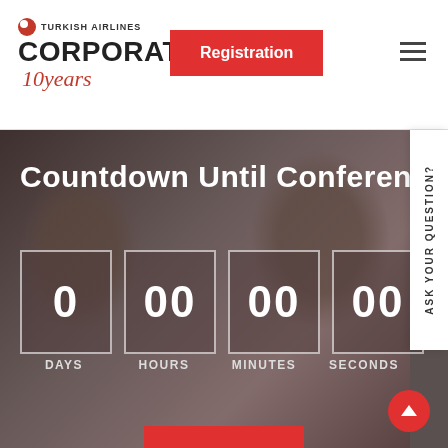[Figure (logo): Turkish Airlines Corporate Club 10 years logo with red circle icon and red script '10 years']
Registration
[Figure (screenshot): Countdown Until Conference section showing hero image with two people and four countdown boxes: 0 DAYS, 00 HOURS, 00 MINUTES, 00 SECONDS]
Countdown Until Conference
0 DAYS
00 HOURS
00 MINUTES
00 SECONDS
ASK YOUR QUESTION?